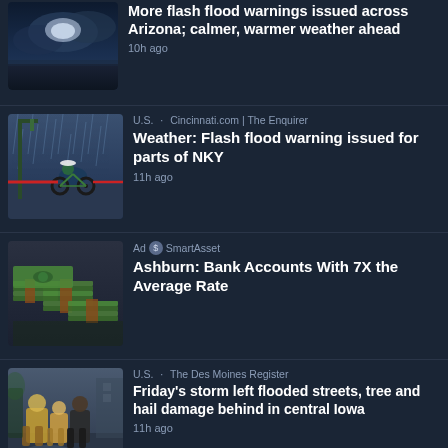[Figure (photo): Storm clouds over a landscape, dark blue sky with lightning]
More flash flood warnings issued across Arizona; calmer, warmer weather ahead
10h ago
[Figure (photo): Person riding a bicycle in the rain on a flooded street]
U.S. · Cincinnati.com | The Enquirer
Weather: Flash flood warning issued for parts of NKY
11h ago
[Figure (photo): Stacks of US dollar bills]
Ad · SmartAsset
Ashburn: Bank Accounts With 7X the Average Rate
[Figure (photo): People walking in rain gear on a wet street]
U.S. · The Des Moines Register
Friday's storm left flooded streets, tree and hail damage behind in central Iowa
11h ago